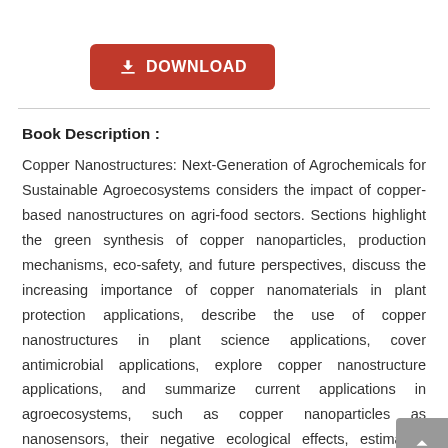[Figure (other): Red download button with download icon and text DOWNLOAD]
Book Description :
Copper Nanostructures: Next-Generation of Agrochemicals for Sustainable Agroecosystems considers the impact of copper-based nanostructures on agri-food sectors. Sections highlight the green synthesis of copper nanoparticles, production mechanisms, eco-safety, and future perspectives, discuss the increasing importance of copper nanomaterials in plant protection applications, describe the use of copper nanostructures in plant science applications, cover antimicrobial applications, explore copper nanostructure applications, and summarize current applications in agroecosystems, such as copper nanoparticles as nanosensors, their negative ecological effects, estimation risks, and more. Assesses the impact